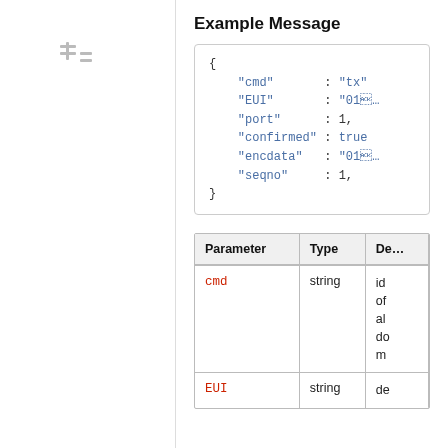[Figure (other): Navigation tree icon in left panel]
Example Message
{
    "cmd"       : "tx"
    "EUI"       : "016
    "port"      : 1,
    "confirmed" : true
    "encdata"   : "016
    "seqno"     : 1,
}
| Parameter | Type | De… |
| --- | --- | --- |
| cmd | string | id…of…al…do…m… |
| EUI | string | de… |